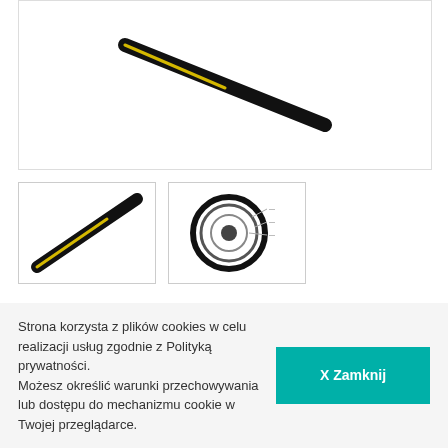[Figure (photo): Main product image: black fiber optic cable diagonal against white background]
[Figure (photo): Thumbnail 1: close-up of fiber optic cable cross-section with yellow fiber visible]
[Figure (photo): Thumbnail 2: circular cross-section diagram of the cable with labels]
U-DQ(ZN)BH 8F E9/125 SMF28e+® Central Tube Dielectric Armor Indoor/Outdoor Cable
Ocena: ★★★★★
Kod EAN: 4056418100678
Strona korzysta z plików cookies w celu realizacji usług zgodnie z Polityką prywatności. Możesz określić warunki przechowywania lub dostępu do mechanizmu cookie w Twojej przeglądarce.